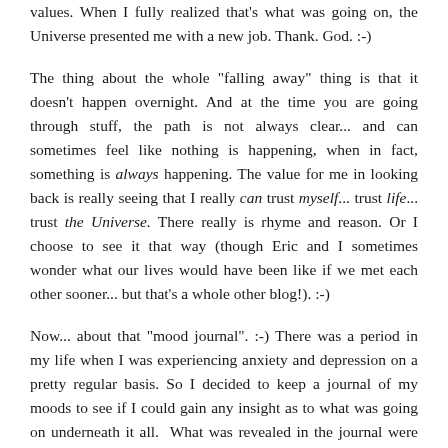values. When I fully realized that's what was going on, the Universe presented me with a new job. Thank. God. :-)
The thing about the whole "falling away" thing is that it doesn't happen overnight. And at the time you are going through stuff, the path is not always clear... and can sometimes feel like nothing is happening, when in fact, something is always happening. The value for me in looking back is really seeing that I really can trust myself... trust life... trust the Universe. There really is rhyme and reason. Or I choose to see it that way (though Eric and I sometimes wonder what our lives would have been like if we met each other sooner... but that's a whole other blog!). :-)
Now... about that "mood journal". :-) There was a period in my life when I was experiencing anxiety and depression on a pretty regular basis. So I decided to keep a journal of my moods to see if I could gain any insight as to what was going on underneath it all. What was revealed in the journal were themes of loneliness and disconnect. Some